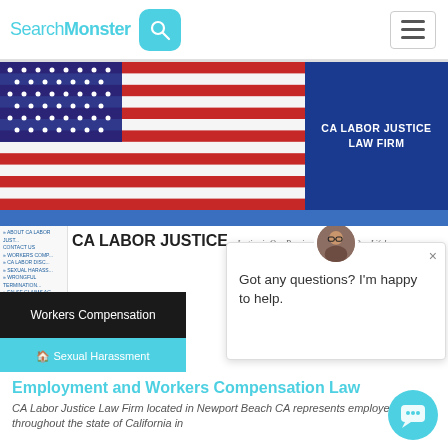SearchMonster [search icon] [hamburger menu]
[Figure (screenshot): Screenshot of CA Labor Justice Law Firm website showing an American flag banner on the left and a blue panel with 'CA LABOR JUSTICE LAW FIRM' text on the right, a navigation strip, sidebar links, CA LABOR JUSTICE heading with tagline, Workers Compensation and Sexual Harassment navigation buttons, a chat popup with avatar asking 'Got any questions? I'm happy to help.', and beginning of article content]
Employment and Workers Compensation Law
CA Labor Justice Law Firm located in Newport Beach CA represents employees throughout the state of California in